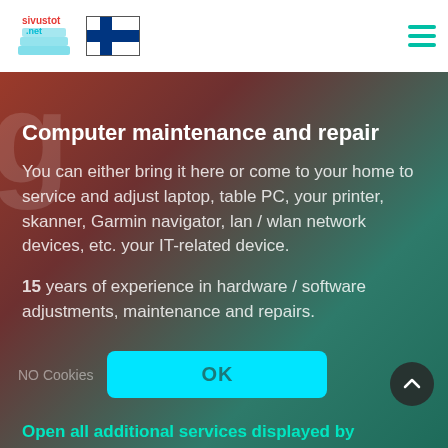sivustot.net [logo with Finnish flag and hamburger menu]
Computer maintenance and repair
You can either bring it here or come to your home to service and adjust laptop, table PC, your printer, skanner, Garmin navigator, lan / wlan network devices, etc. your IT-related device.
15 years of experience in hardware / software adjustments, maintenance and repairs.
NO Cookies
OK
Open all additional services displayed by